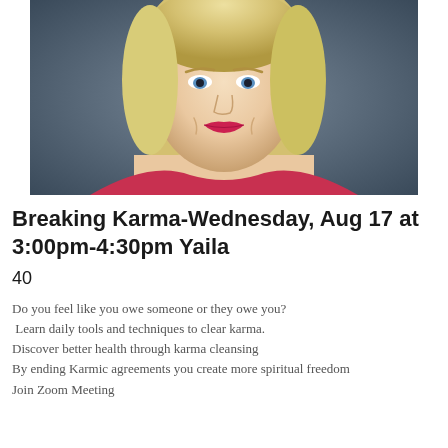[Figure (photo): Portrait photo of a blonde woman with blue eyes and red/pink lipstick, smiling, wearing a red top, against a dark blurred background]
Breaking Karma-Wednesday, Aug 17 at 3:00pm-4:30pm Yaila
40
Do you feel like you owe someone or they owe you? Learn daily tools and techniques to clear karma. Discover better health through karma cleansing By ending Karmic agreements you create more spiritual freedom Join Zoom Meeting